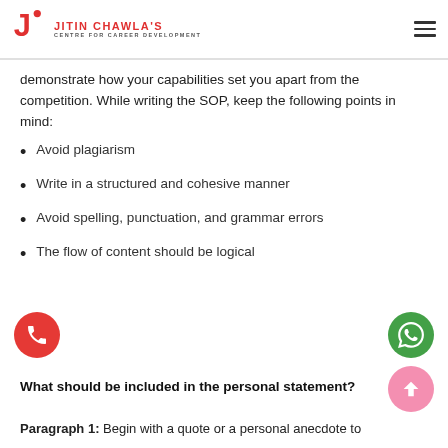JITIN CHAWLA'S CENTRE FOR CAREER DEVELOPMENT
demonstrate how your capabilities set you apart from the competition. While writing the SOP, keep the following points in mind:
Avoid plagiarism
Write in a structured and cohesive manner
Avoid spelling, punctuation, and grammar errors
The flow of content should be logical
What should be included in the personal statement?
Paragraph 1: Begin with a quote or a personal anecdote to